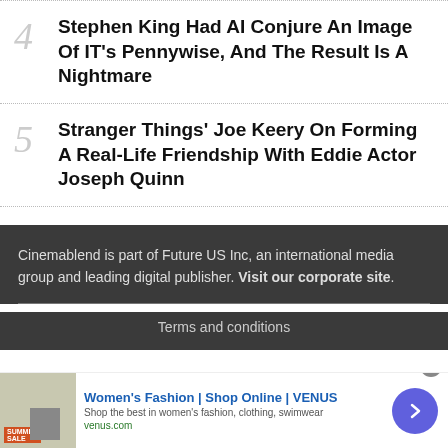4 Stephen King Had AI Conjure An Image Of IT's Pennywise, And The Result Is A Nightmare
5 Stranger Things' Joe Keery On Forming A Real-Life Friendship With Eddie Actor Joseph Quinn
Cinemablend is part of Future US Inc, an international media group and leading digital publisher. Visit our corporate site.
Terms and conditions
[Figure (other): Advertisement banner for Women's Fashion Shop Online VENUS with image of summer sale]